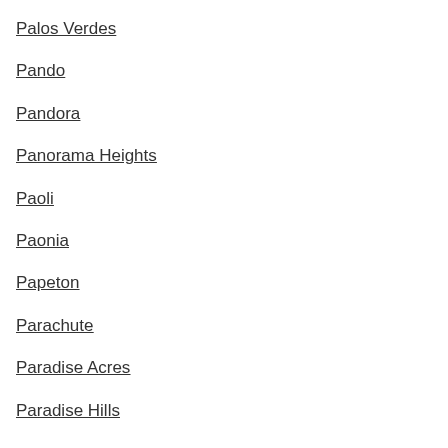Palos Verdes
Pando
Pandora
Panorama Heights
Paoli
Paonia
Papeton
Parachute
Paradise Acres
Paradise Hills